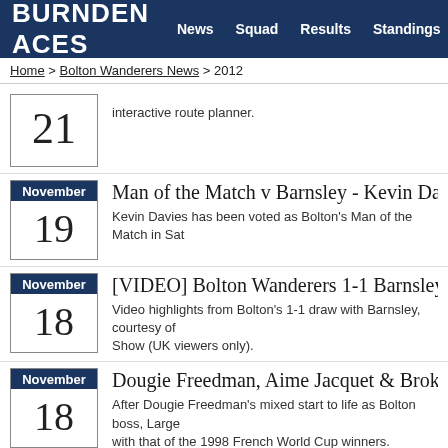BURNDEN ACES — News  Squad  Results  Standings
Home > Bolton Wanderers News > 2012
21 [November truncated] — interactive route planner.
November 19 — Man of the Match v Barnsley - Kevin Davie... — Kevin Davies has been voted as Bolton's Man of the Match in Sat...
November 18 — [VIDEO] Bolton Wanderers 1-1 Barnsley — Video highlights from Bolton's 1-1 draw with Barnsley, courtesy of... Show (UK viewers only).
November 18 — Dougie Freedman, Aime Jacquet & Broken... — After Dougie Freedman's mixed start to life as Bolton boss, Large... with that of the 1998 French World Cup winners.